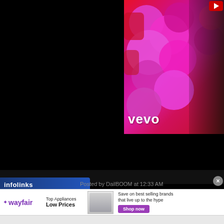[Figure (screenshot): Screenshot of a webpage showing a Vevo music video thumbnail on the right side (woman with curly hair in front of pink flowers with 'vevo' text overlay), black background on the left, and an infolinks bar at the bottom. Below is a Wayfair advertisement banner showing 'Top Appliances Low Prices' with an image of a stove and text 'Save on best selling brands that live up to the hype' with a purple 'Shop now' button. A light gray bar appears at the very bottom.]